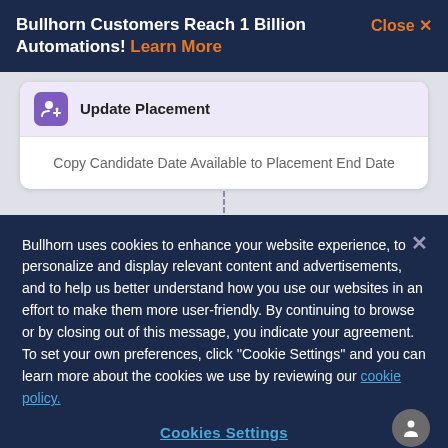Bullhorn Customers Reach 1 Billion Automations! Learn More    Close X
[Figure (screenshot): UI card showing 'Update Placement' action with icon and subtext 'Copy Candidate Date Available to Placement End Date']
Bullhorn uses cookies to enhance your website experience, to personalize and display relevant content and advertisements, and to help us better understand how you use our websites in an effort to make them more user-friendly. By continuing to browse or by closing out of this message, you indicate your agreement. To set your own preferences, click ''Cookie Settings'' and you can learn more about the cookies we use by reviewing our cookie policy.
Cookies Settings